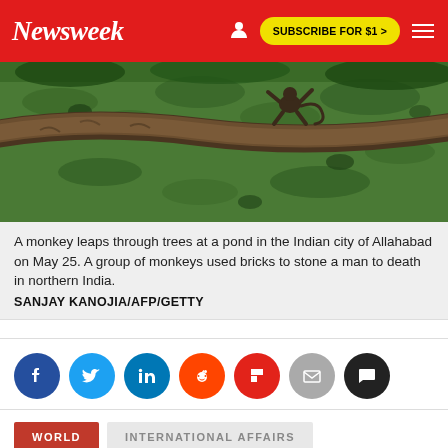Newsweek | SUBSCRIBE FOR $1 >
[Figure (photo): A monkey leaping through trees over a green algae-covered pond in Allahabad, India. A large tree trunk/log is visible in the foreground over the water.]
A monkey leaps through trees at a pond in the Indian city of Allahabad on May 25. A group of monkeys used bricks to stone a man to death in northern India.
SANJAY KANOJIA/AFP/GETTY
[Figure (infographic): Social media share icons: Facebook (blue), Twitter (light blue), LinkedIn (dark blue), Reddit (orange), Flipboard (red), Email (gray), Comments (black)]
WORLD   INTERNATIONAL AFFAIRS